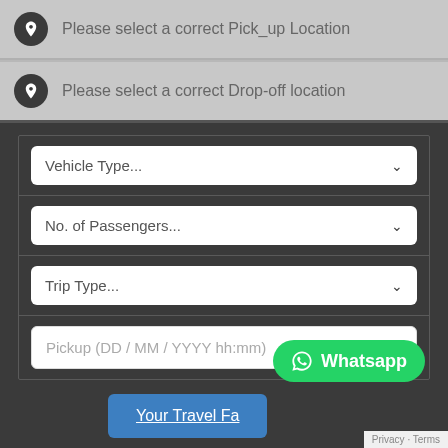Please select a correct Pick_up Location
Please select a correct Drop-off location
Vehicle Type...
No. of Passengers...
Trip Type...
Pickup (DD / MM / YYYY hh:mm)
Your Travel Fa
Whatsapp
Privacy · Terms